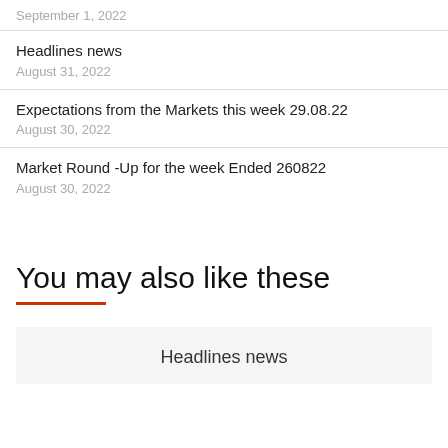September 1, 2022
Headlines news
August 31, 2022
Expectations from the Markets this week 29.08.22
August 30, 2022
Market Round -Up for the week Ended 260822
August 30, 2022
You may also like these
Headlines news